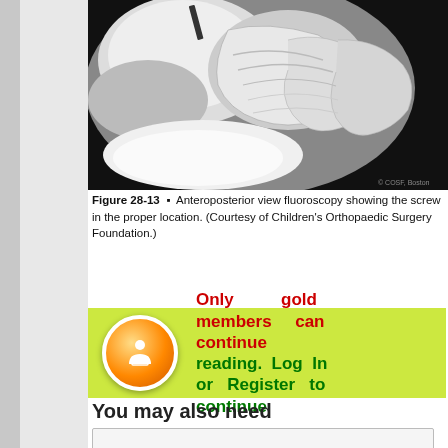[Figure (photo): Anteroposterior view fluoroscopy X-ray image showing a foot/ankle with a screw in proper location. Black background with circular field of view showing bone structures.]
Figure 28-13 ▪ Anteroposterior view fluoroscopy showing the screw in the proper location. (Courtesy of Children's Orthopaedic Surgery Foundation.)
[Figure (infographic): Green background box with orange circular button icon and red/green text: 'Only gold members can continue reading. Log In or Register to continue']
You may also need